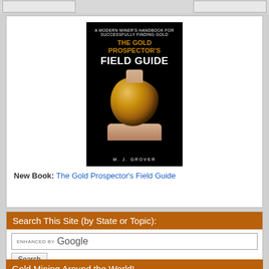[Figure (photo): Book cover of 'The Gold Prospector's Field Guide' by M. J. Grover. Black background with gold nugget held by a hand. Subtitle: A Modern Miner's Handbook for Successfully Finding Gold.]
New Book: The Gold Prospector's Field Guide
Search This Site (by State or Topic):
ENHANCED BY Google
Search
Gold Mining Around the World!